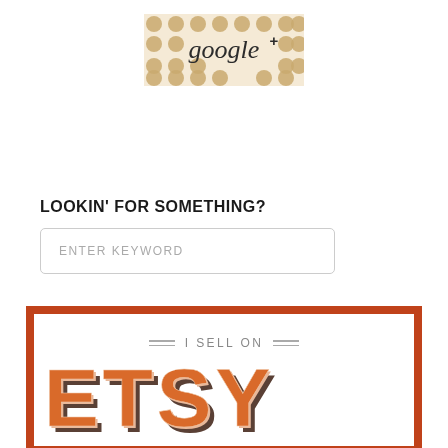[Figure (logo): Google+ logo badge with polka dot pattern background in cream and gold tones, script 'google+' text in dark color]
LOOKIN' FOR SOMETHING?
ENTER KEYWORD
[Figure (illustration): Etsy seller badge with orange border, 'I SELL ON' header with decorative double lines, large stylized 'ETSY' text in orange, peach and brown 3D block letters]